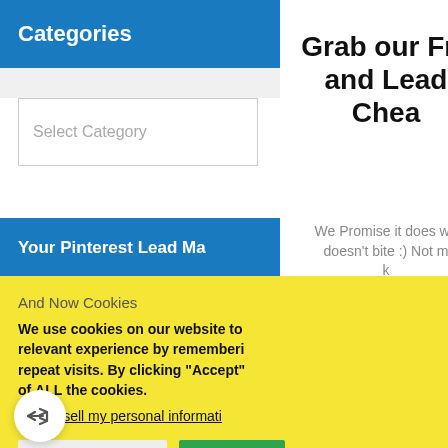Categories
Select Category
Your Pinterest Lead Ma
Grab our Fre and Lead Chea
We Promise it does wh doesn't bite :) Not m k
And Now Cookies
We use cookies on our website to relevant experience by rememberin repeat visits. By clicking "Accept" of ALL the cookies.
Do not sell my personal informati
Cookie Settings
Accept
[Figure (photo): Cat wearing a blue knit hood/hat]